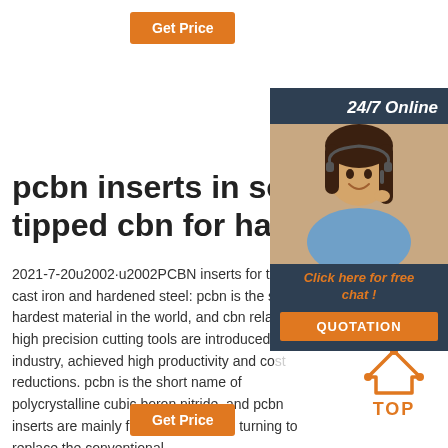[Figure (other): Orange 'Get Price' button at top left]
[Figure (other): Sidebar with '24/7 Online' heading, photo of woman with headset, 'Click here for free chat!' text, and orange QUOTATION button]
pcbn inserts in solid cbn tipped cbn for hard turning
2021-7-20u2002·u2002PCBN inserts for turning cast iron and hardened steel: pcbn is the second hardest material in the world, and cbn related high precision cutting tools are introduced to industry, achieved high productivity and cost reductions. pcbn is the short name of polycrystalline cubic boron nitride, and pcbn inserts are mainly for the hard metal turning to replace the conventional …
[Figure (other): Orange arrow-up icon with TOP text below]
[Figure (other): Orange 'Get Price' button at bottom left]